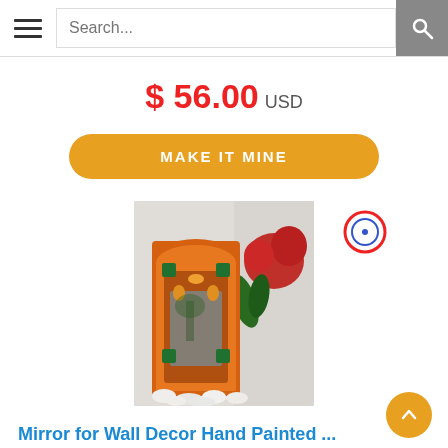Search...
$ 56.00 USD
MAKE IT MINE
[Figure (photo): Decorative hand-painted mirror for wall decor with arched Moroccan-style frame in orange and colorful patterns, displayed with white pebbles and a red flower in background]
Mirror for Wall Decor Hand Painted ...